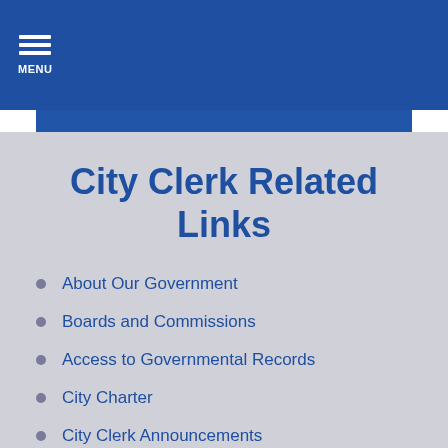MENU
City Clerk Related Links
About Our Government
Boards and Commissions
Access to Governmental Records
City Charter
City Clerk Announcements